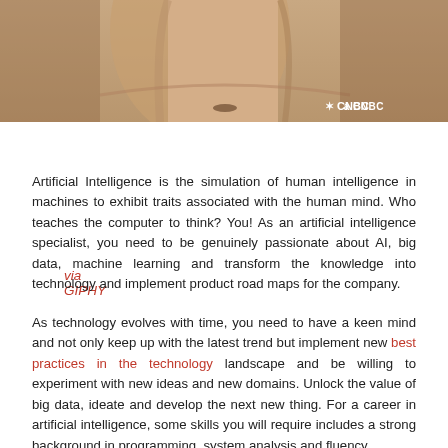[Figure (photo): Cropped photo of a person's neck and chin area, with CNBC watermark logo in the bottom right corner. Background is warm beige/skin tones.]
via GIPHY
Artificial Intelligence is the simulation of human intelligence in machines to exhibit traits associated with the human mind. Who teaches the computer to think? You! As an artificial intelligence specialist, you need to be genuinely passionate about AI, big data, machine learning and transform the knowledge into technology and implement product road maps for the company.
As technology evolves with time, you need to have a keen mind and not only keep up with the latest trend but implement new best practices in the technology landscape and be willing to experiment with new ideas and new domains. Unlock the value of big data, ideate and develop the next new thing. For a career in artificial intelligence, some skills you will require includes a strong background in programming, system analysis and fluency